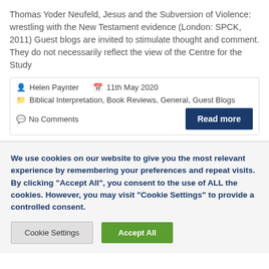Thomas Yoder Neufeld, Jesus and the Subversion of Violence: wrestling with the New Testament evidence (London: SPCK, 2011) Guest blogs are invited to stimulate thought and comment. They do not necessarily reflect the view of the Centre for the Study
Helen Paynter   11th May 2020   Biblical Interpretation, Book Reviews, General, Guest Blogs   No Comments
We use cookies on our website to give you the most relevant experience by remembering your preferences and repeat visits. By clicking "Accept All", you consent to the use of ALL the cookies. However, you may visit "Cookie Settings" to provide a controlled consent.